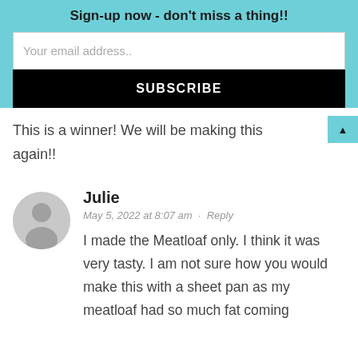Sign-up now - don't miss a thing!!
Your email address..
SUBSCRIBE
This is a winner! We will be making this again!!
Julie
May 5, 2022 at 8:07 am · Reply
I made the Meatloaf only. I think it was very tasty. I am not sure how you would make this with a sheet pan as my meatloaf had so much fat coming